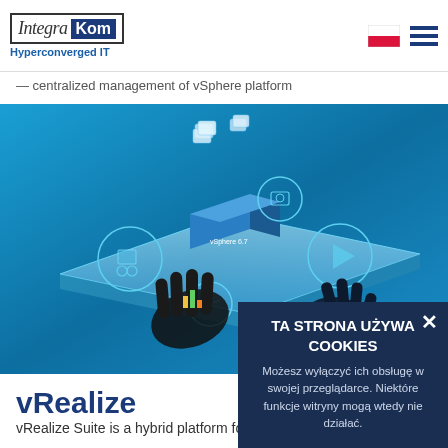IntegraKom Hyperconverged IT
centralized management of vSphere platform
[Figure (illustration): 3D illustration of vSphere 6.7 platform with floating VMs and two hands interacting with a holographic interface on a blue futuristic surface]
vRealize
vRealize Suite is a hybrid platform for clo...
TA STRONA UŻYWA COOKIES
Możesz wyłączyć ich obsługę w swojej przeglądarce. Niektóre funkcje witryny mogą wtedy nie działać.